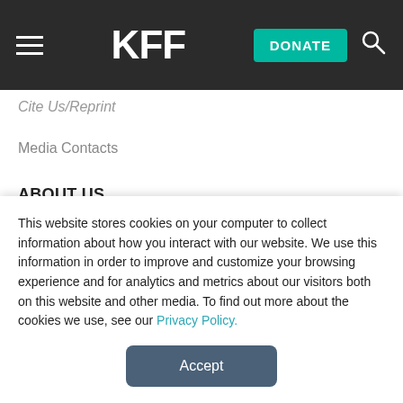KFF | DONATE
Cite Us/Reprint
Media Contacts
ABOUT US
President's Message
Join Our Team
Our Programs
Support Our Work
This website stores cookies on your computer to collect information about how you interact with our website. We use this information in order to improve and customize your browsing experience and for analytics and metrics about our visitors both on this website and other media. To find out more about the cookies we use, see our Privacy Policy.
Accept